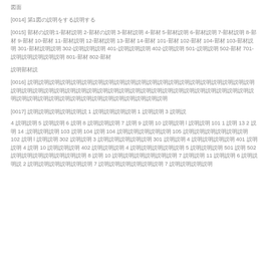図面
[0014] 第1図の説明をする説明する
[0015] 部材の説明:1-部材説明 2-部材の説明 3-部材説明 4-部材 5-部材説明 6-部材説明 7-部材説明 8-部材 9-部材 10-部材 11-部材説明 12-部材説明 13-部材 14-部材 101-部材 102-部材 104-部材 103-部材説明 301-部材説明説明 302-説明説明説明 401-説明説明説明 402-説明説明 501-説明説明 502-部材 701-説明説明説明説明説明 801-部材 802-部材
説明部材説
[0016] 説明説明説明説明説明説明説明説明説明説明説明説明説明説明説明説明説明説明説明説明説明説明説明説明説明説明説明説明説明説明説明説明説明説明説明説明説明説明説明
[0017] 説明説明説明説明説明説 1 説明説明説明説明 1 説明説明 3 説明説
4 説明説明 5 説明説明 6 説明 8 説明説明説明 7 説明 9 説明 10 説明説明 l 説明説明 101 1 説明 13 2 説明 14 ;説明説明説明 103 説明 104 説明 104 説明説明説明説明説明 105 説明説明説明説明説明説明 102 説明 l 説明説明 302 説明説明 3 説明説明説明説明説明 301 説明説明 4 説明説明説明説明 401 説明説明 4 説明 10 説明説明説明 402 説明説明説明 4 説明説明説明説明説明 5 説明説明説明 501 説明 502 説明説明説明説明説明説明説明 8 説明 10 説明説明説明説明説明説明 7 説明説明 11 説明説明 6 説明説明説 2 説明説明説明説明説明説明 7 説明説明説明説明説明説明 7 説明説明説明説明